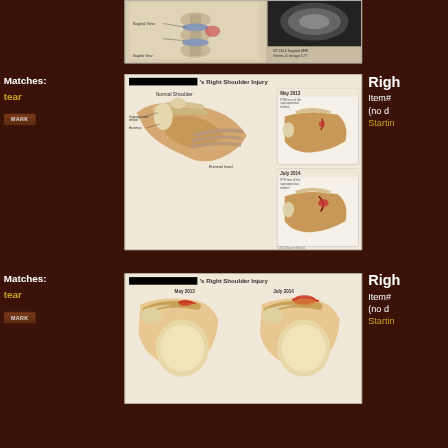[Figure (illustration): Partial view of a spinal anatomy illustration with sagittal cross-section and accompanying MRI image at top of page]
Matches:
tear
MARK
[Figure (illustration): Right Shoulder Injury medical illustration showing Normal Shoulder compared to injured shoulder with May 2013 and July 2014 inset images]
Righ
Item#
(no d
Startin
Matches:
tear
MARK
[Figure (illustration): Right Shoulder Injury illustration showing May 2013 and July 2014 side-by-side shoulder cross-section views]
Righ
Item#
(no d
Startin